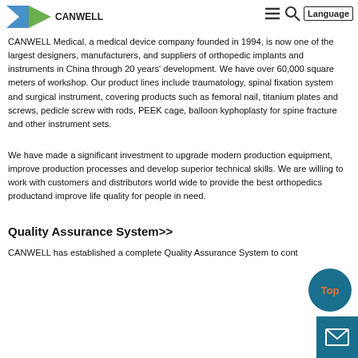CANWELL Medical [logo] [hamburger menu] [search] Language
CANWELL Medical, a medical device company founded in 1994, is now one of the largest designers, manufacturers, and suppliers of orthopedic implants and instruments in China through 20 years' development. We have over 60,000 square meters of workshop. Our product lines include traumatology, spinal fixation system and surgical instrument, covering products such as femoral nail, titanium plates and screws, pedicle screw with rods, PEEK cage, balloon kyphoplasty for spine fracture and other instrument sets.
We have made a significant investment to upgrade modern production equipment, improve production processes and develop superior technical skills. We are willing to work with customers and distributors world wide to provide the best orthopedics productand improve life quality for people in need.
Quality Assurance System>>
CANWELL has established a complete Quality Assurance System to cont...